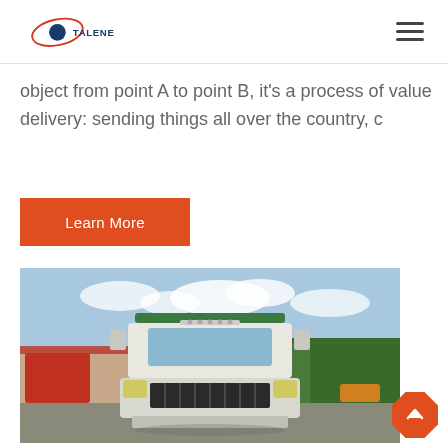TALENET [logo] [hamburger menu]
object from point A to point B, it's a process of value delivery: sending things all over the country, c
Learn More
[Figure (photo): Front view of a white HOWO heavy-duty truck parked in a yard with trees and buildings in the background.]